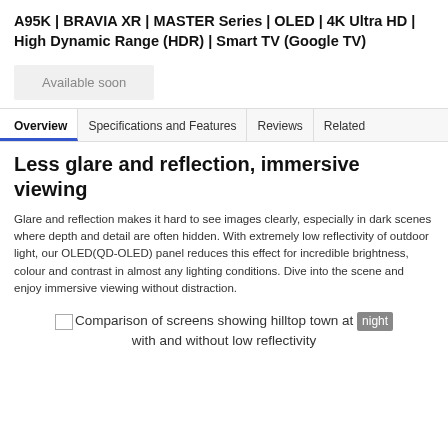A95K | BRAVIA XR | MASTER Series | OLED | 4K Ultra HD | High Dynamic Range (HDR) | Smart TV (Google TV)
Available soon
Overview
Specifications and Features
Reviews
Related
Less glare and reflection, immersive viewing
Glare and reflection makes it hard to see images clearly, especially in dark scenes where depth and detail are often hidden. With extremely low reflectivity of outdoor light, our OLED(QD-OLED) panel reduces this effect for incredible brightness, colour and contrast in almost any lighting conditions. Dive into the scene and enjoy immersive viewing without distraction.
Comparison of screens showing hilltop town at night with and without low reflectivity